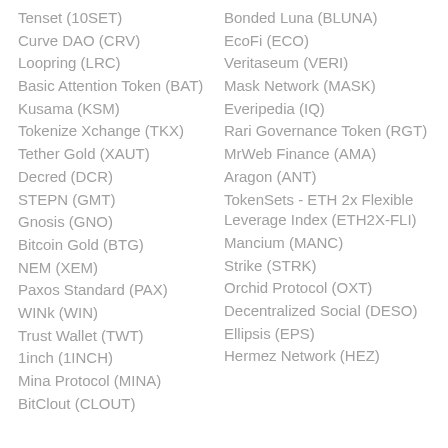Tenset (10SET)
Curve DAO (CRV)
Loopring (LRC)
Basic Attention Token (BAT)
Kusama (KSM)
Tokenize Xchange (TKX)
Tether Gold (XAUT)
Decred (DCR)
STEPN (GMT)
Gnosis (GNO)
Bitcoin Gold (BTG)
NEM (XEM)
Paxos Standard (PAX)
WINk (WIN)
Trust Wallet (TWT)
1inch (1INCH)
Mina Protocol (MINA)
BitClout (CLOUT)
Bonded Luna (BLUNA)
EcoFi (ECO)
Veritaseum (VERI)
Mask Network (MASK)
Everipedia (IQ)
Rari Governance Token (RGT)
MrWeb Finance (AMA)
Aragon (ANT)
TokenSets - ETH 2x Flexible Leverage Index (ETH2X-FLI)
Mancium (MANC)
Strike (STRK)
Orchid Protocol (OXT)
Decentralized Social (DESO)
Ellipsis (EPS)
Hermez Network (HEZ)